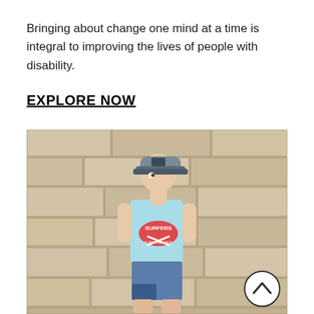Bringing about change one mind at a time is integral to improving the lives of people with disability.
EXPLORE NOW
[Figure (photo): A young boy wearing a gray snapback cap and a light blue 'Surfers Surf The Wave' tank top with red graphic print, and blue denim shorts with patches, leaning against a sandstone brick wall.]